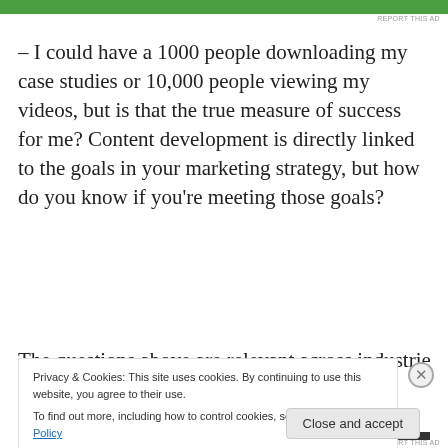[Figure (other): Green advertisement banner at top of page]
REPORT THIS AD
– I could have a 1000 people downloading my case studies or 10,000 people viewing my videos, but is that the true measure of success for me? Content development is directly linked to the goals in your marketing strategy, but how do you know if you're meeting those goals?
The questions above are relevant across industries
Privacy & Cookies: This site uses cookies. By continuing to use this website, you agree to their use.
To find out more, including how to control cookies, see here: Cookie Policy
Close and accept
[Figure (other): Orange and black advertisement bar at bottom]
REPORT THIS AD